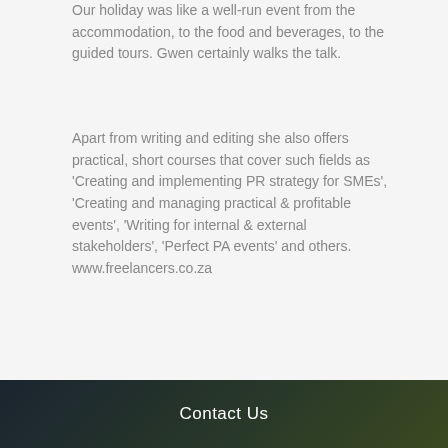Our holiday was like a well-run event from the accommodation, to the food and beverages, to the guided tours. Gwen certainly walks the talk.
Apart from writing and editing she also offers practical, short courses that cover such fields as 'Creating and implementing PR strategy for SMEs', 'Creating and managing practical & profitable events', 'Writing for internal & external stakeholders', 'Perfect PA events' and others. www.freelancers.co.za
Contact Us